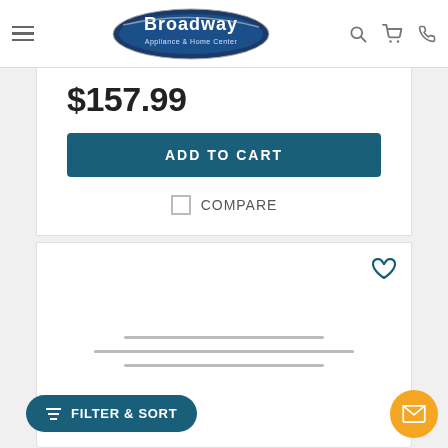Broadway Appliance & Home Center — navigation bar with menu, search, cart, phone icons
$157.99
ADD TO CART
COMPARE
[Figure (screenshot): Product card with heart/wishlist icon and product image placeholder lines]
FILTER & SORT